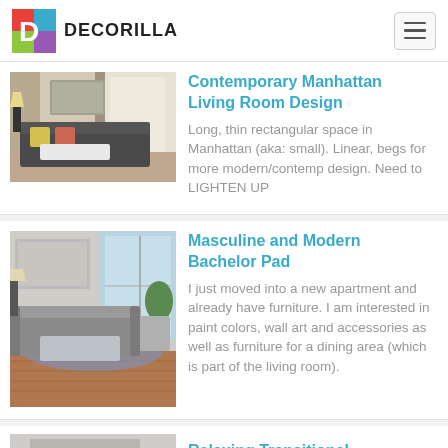DECORILLA
[Figure (photo): Contemporary Manhattan living room with dark sofa, white coffee table, yellow accent pillows, and sheer curtains]
Contemporary Manhattan Living Room Design
Long, thin rectangular space in Manhattan (aka: small). Linear, begs for more modern/contemp design. Need to LIGHTEN UP
[Figure (photo): Modern bachelor pad living room with grey sofa, glass coffee table, blue rug, and large windows]
Masculine and Modern Bachelor Pad
I just moved into a new apartment and already have furniture. I am interested in paint colors, wall art and accessories as well as furniture for a dining area (which is part of the living room).
[Figure (photo): Partial view of a Relaxing Transitional room]
Relaxing Transitional